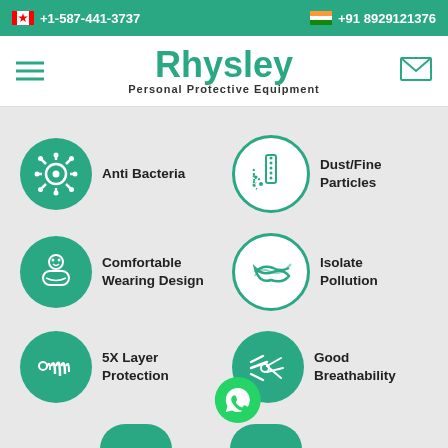+1-587-441-3737  |  +91 8929121376
[Figure (logo): Rhysley Personal Protective Equipment logo with hamburger menu and envelope icon]
[Figure (infographic): PPE product features infographic showing 6 icons with labels: Anti Bacteria, Dust/Fine Particles, Comfortable Wearing Design, Isolate Pollution, 5X Layer Protection, Good Breathability. Each feature has a blue circle icon on a light grey background.]